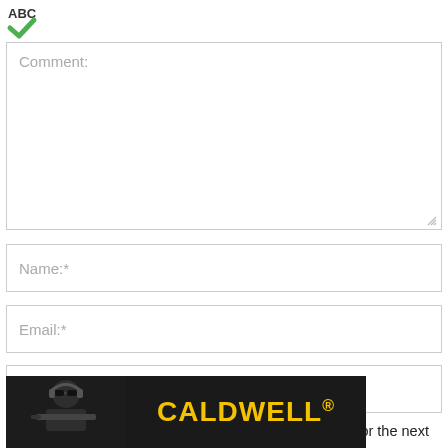[Figure (logo): Green ABC spellcheck icon with green checkmark below]
Comment:
Name:*
Email:*
Website:
Save my name, email, and website in this browser for the next
[Figure (photo): Caldwell advertisement banner showing a person with headphones and sunglasses aiming a rifle scope, with yellow CALDWELL® text on dark background]